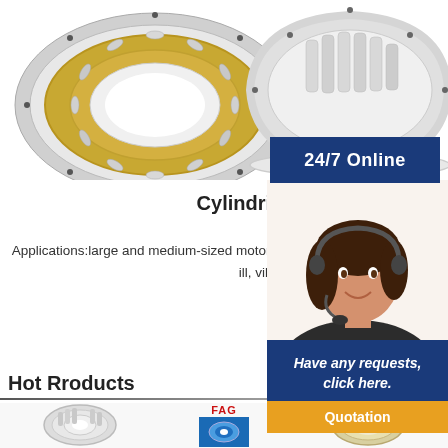[Figure (photo): Two cylindrical roller bearings shown from an isometric angle — one with a gold/brass cage and one chrome roller bearing disassembled, on a white background]
24/7 Online
Cylindrical roller bearings
[Figure (photo): Customer service representative woman wearing a headset, smiling, with dark hair]
Applications:large and medium-sized motor, locomotive, internal combustion engines, generators, gas turbines, rolling mill, vibrating screen and lifting transportation
Have any requests, click here.
Quotation
Hot Rroducts
[Figure (photo): Bottom strip showing three cylindrical roller bearing product images with FAG brand label in red]